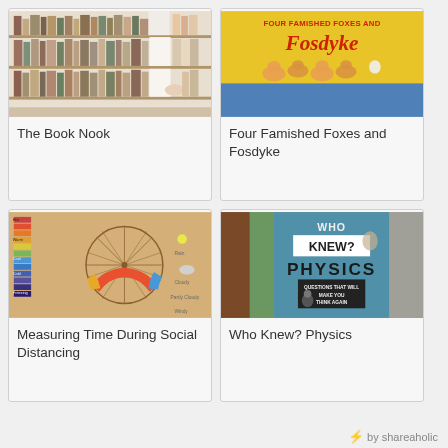[Figure (photo): Photo of a bookshelf with books arranged on multiple shelves]
The Book Nook
[Figure (photo): Children's book cover: Four Famished Foxes and Fosdyke with cartoon foxes on yellow background]
Four Famished Foxes and Fosdyke
[Figure (photo): Educational weather and time measurement board with circular clock/compass design and color strips]
Measuring Time During Social Distancing
[Figure (photo): Book cover: Who Knew? Physics - Questions That Will Make You Think Again, shown with fabric texture background]
Who Knew? Physics
by shareaholic